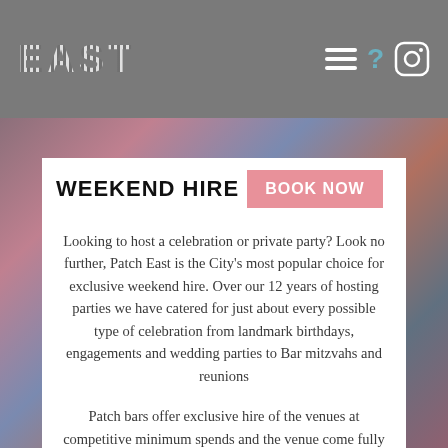EAST — navigation header with hamburger menu, question mark, and Instagram icons
WEEKEND HIRE    BOOK NOW
Looking to host a celebration or private party? Look no further, Patch East is the City's most popular choice for exclusive weekend hire. Over our 12 years of hosting parties we have catered for just about every possible type of celebration from landmark birthdays, engagements and wedding parties to Bar mitzvahs and reunions
Patch bars offer exclusive hire of the venues at competitive minimum spends and the venue come fully equipped with late licences, full DJ and AV kit, cloakrooms, photo booths and of course, sweet arm